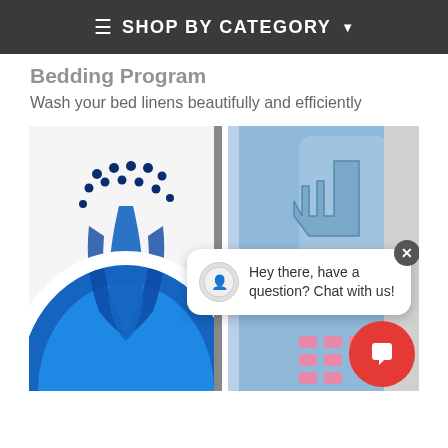≡  SHOP BY CATEGORY ▾
Bedding Program
Wash your bed linens beautifully and efficiently
[Figure (photo): Close-up photo of blue and white washing machine drum components with detergent trays, overlaid with a chat bubble popup reading 'Hey there, have a question? Chat with us!' and a red chat FAB button.]